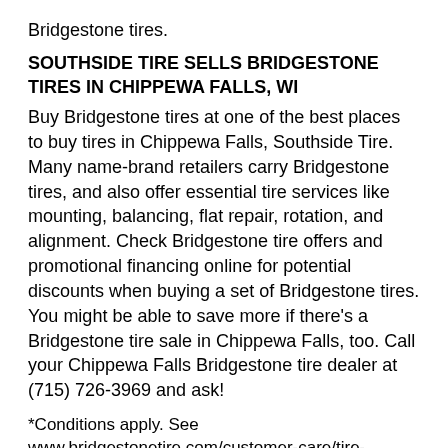Bridgestone tires.
SOUTHSIDE TIRE SELLS BRIDGESTONE TIRES IN CHIPPEWA FALLS, WI
Buy Bridgestone tires at one of the best places to buy tires in Chippewa Falls, Southside Tire. Many name-brand retailers carry Bridgestone tires, and also offer essential tire services like mounting, balancing, flat repair, rotation, and alignment. Check Bridgestone tire offers and promotional financing online for potential discounts when buying a set of Bridgestone tires. You might be able to save more if there's a Bridgestone tire sale in Chippewa Falls, too. Call your Chippewa Falls Bridgestone tire dealer at (715) 726-3969 and ask!
*Conditions apply. See www.bridgestonetire.com/customer-care/tire-warranties
**Up to 50 miles at 50 mph. Repairable in limited circumstances.